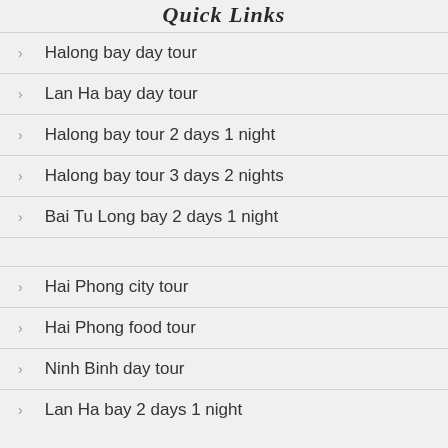Quick Links
Halong bay day tour
Lan Ha bay day tour
Halong bay tour 2 days 1 night
Halong bay tour 3 days 2 nights
Bai Tu Long bay 2 days 1 night
Hai Phong city tour
Hai Phong food tour
Ninh Binh day tour
Lan Ha bay 2 days 1 night